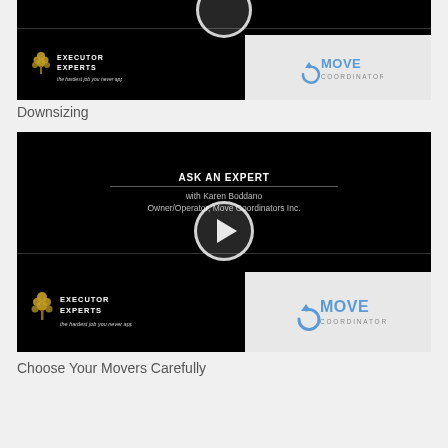[Figure (screenshot): Video thumbnail showing Executor Experts and Move Coordinators logos on black background with play button partially visible at top]
Downsizing
[Figure (screenshot): Video thumbnail on black background with text 'ASK AN EXPERT with Karen Boddano Owner/Operator, Move Coordinators Inc.' and play button circle, Executor Experts and Move Coordinators logos at bottom]
Choose Your Movers Carefully